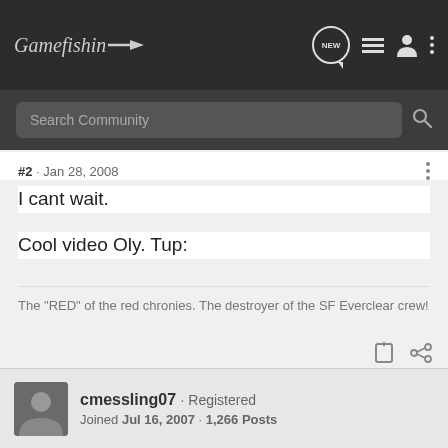Gamefishin — navigation bar with NEW, list, user, and menu icons
Search Community
#2 · Jan 28, 2008
I cant wait.
Cool video Oly. Tup:
The "RED" of the red chronies. The destroyer of the SF Everclear crew!
cmessling07 · Registered
Joined Jul 16, 2007 · 1,266 Posts